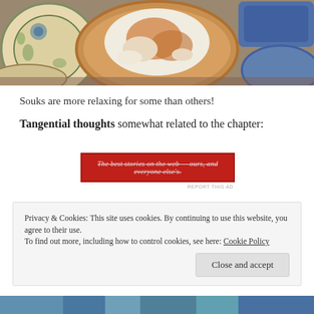[Figure (photo): A cat sleeping curled up inside a large round bowl/plate, surrounded by decorative ceramic plates and dishes. The center plate has a warm tan/wood color, flanked by ornate patterned plates on the left and blue ceramic dishes on the right.]
Souks are more relaxing for some than others!
Tangential thoughts somewhat related to the chapter:
[Figure (screenshot): A red advertisement banner with italic strikethrough text reading: 'The best stories on the web — ours, and everyone else's.' with a 'REPORT THIS AD' label below right.]
Privacy & Cookies: This site uses cookies. By continuing to use this website, you agree to their use.
To find out more, including how to control cookies, see here: Cookie Policy
[Figure (photo): Bottom of page partially visible photo showing colorful fabric or textiles in blues and greens.]